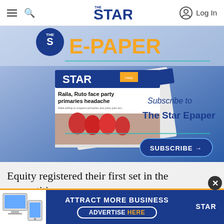The Star — Log In
[Figure (illustration): The Star E-Paper subscription banner. Shows 'THE STAR E-PAPER' logo at top with blue Star logo. Below are stacked newspaper front pages showing headlines 'Raila, Ruto face party primaries headache' and '2022'. Right side text: 'Subscribe to The Star Epaper' with a blue SUBSCRIBE button with arrow.]
Equity registered their first set in the competition,
[Figure (infographic): Bottom advertisement banner: 'ATTRACT MORE BUSINESS — ADVERTISE HERE' with The Star logo on right side. Orange and blue color scheme.]